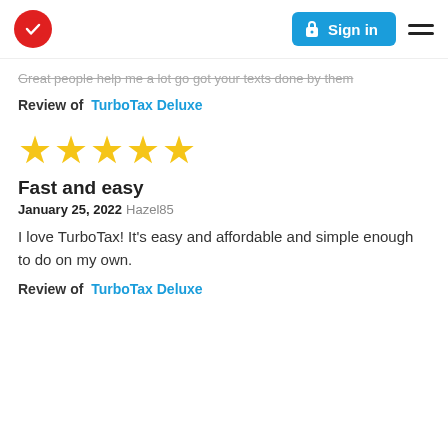TurboTax logo | Sign in | Menu
Great people help me a lot go got your texts done by them
Review of  TurboTax Deluxe
[Figure (other): 5 gold stars rating]
Fast and easy
January 25, 2022  Hazel85
I love TurboTax! It's easy and affordable and simple enough to do on my own.
Review of  TurboTax Deluxe